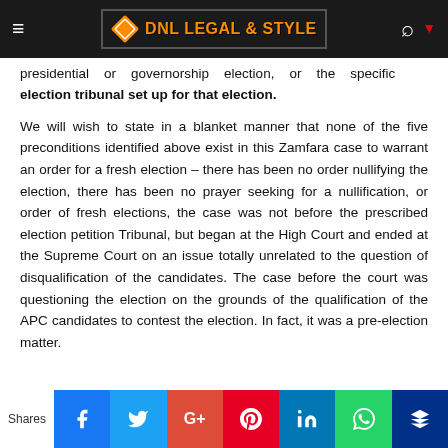DNL LEGAL & STYLE
presidential or governorship election, or the specific election tribunal set up for that election.
We will wish to state in a blanket manner that none of the five preconditions identified above exist in this Zamfara case to warrant an order for a fresh election – there has been no order nullifying the election, there has been no prayer seeking for a nullification, or order of fresh elections, the case was not before the prescribed election petition Tribunal, but began at the High Court and ended at the Supreme Court on an issue totally unrelated to the question of disqualification of the candidates. The case before the court was questioning the election on the grounds of the qualification of the APC candidates to contest the election. In fact, it was a pre-election matter.
Shares | Facebook | Twitter | Google+ | Pinterest | LinkedIn | WhatsApp | Mix